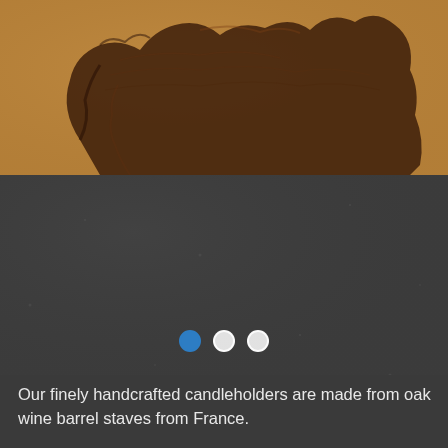[Figure (photo): Top portion of a wooden object (dark brown, carved wood shape) on a warm tan/caramel background, cropped at the bottom. The wood appears to be a handcrafted candleholder made from oak wine barrel staves.]
[Figure (photo): Dark gray textured background section (lower portion of product photo carousel), with three navigation dots at the bottom center — first dot is blue/active, second and third are white/inactive.]
Our finely handcrafted candleholders are made from oak wine barrel staves from France.
The quality wood from oak wine barrel staves are an immediate and perfect frame...